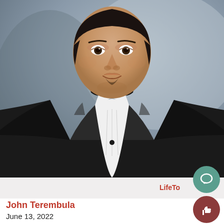[Figure (photo): Portrait photo of a young man in a black tuxedo with bow tie, formal professional headshot against a grey-blue studio background]
LifeTo
John Terembula
June 13, 2022